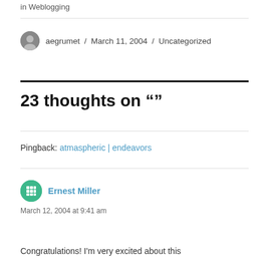in  Weblogging
aegrumet / March 11, 2004 / Uncategorized
23 thoughts on ""
Pingback: atmaspheric | endeavors
Ernest Miller
March 12, 2004 at 9:41 am
Congratulations! I'm very excited about this